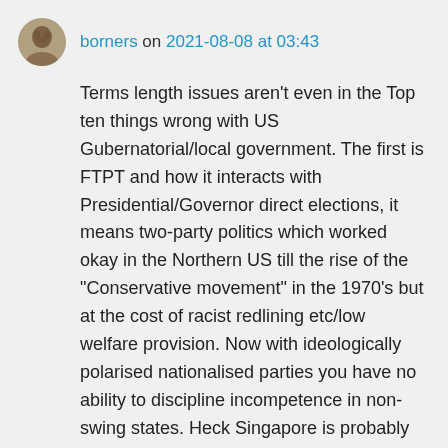borners on 2021-08-08 at 03:43
Terms length issues aren't even in the Top ten things wrong with US Gubernatorial/local government. The first is FTPT and how it interacts with Presidential/Governor direct elections, it means two-party politics which worked okay in the Northern US till the rise of the “Conservative movement” in the 1970’s but at the cost of racist redlining etc/low welfare provision. Now with ideologically polarised nationalised parties you have no ability to discipline incompetence in non-swing states. Heck Singapore is probably better response to elections/public opinion shifts than US local government.